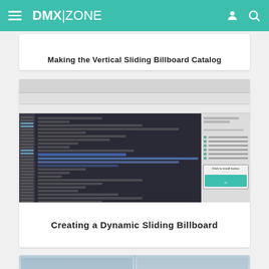DMX|ZONE
Making the Vertical Sliding Billboard Catalog
[Figure (screenshot): Screenshot of a code editor (Dreamweaver) showing HTML/code for a Dynamic Sliding Billboard, with file tree panel on the right and a dialog box with 'Click to install button' visible at the bottom right.]
Creating a Dynamic Sliding Billboard
[Figure (screenshot): Partial screenshot of another tutorial step, showing a web interface at the bottom of the page.]